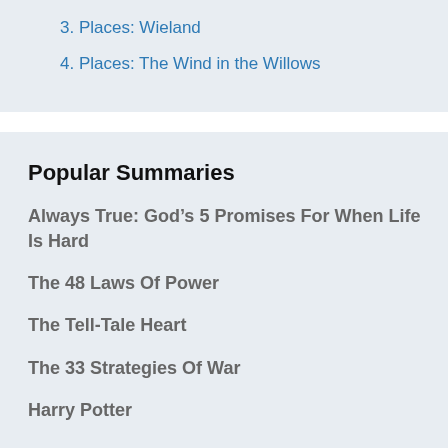3. Places: Wieland
4. Places: The Wind in the Willows
Popular Summaries
Always True: God’s 5 Promises For When Life Is Hard
The 48 Laws Of Power
The Tell-Tale Heart
The 33 Strategies Of War
Harry Potter